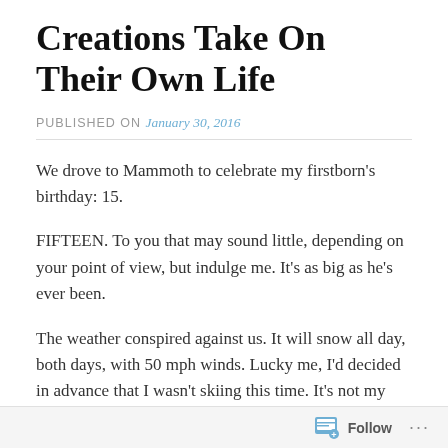Creations Take On Their Own Life
PUBLISHED ON January 30, 2016
We drove to Mammoth to celebrate my firstborn's birthday: 15.
FIFTEEN. To you that may sound little, depending on your point of view, but indulge me. It's as big as he's ever been.
The weather conspired against us. It will snow all day, both days, with 50 mph winds. Lucky me, I'd decided in advance that I wasn't skiing this time. It's not my cup of cocoa, let's say; I am preoccupied with falling, even before